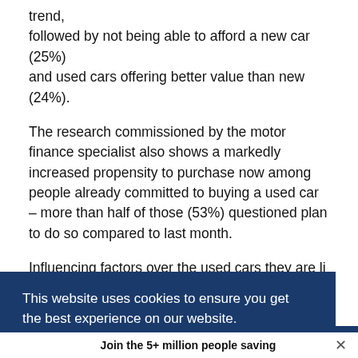trend, followed by not being able to afford a new car (25%) and used cars offering better value than new (24%).
The research commissioned by the motor finance specialist also shows a markedly increased propensity to purchase now among people already committed to buying a used car – more than half of those (53%) questioned plan to do so compared to last month.
Influencing factors over the used cars they are likely to [buy include...] [with the...] [of...] [and the...]
This website uses cookies to ensure you get the best experience on our website. Learn more
Got it!
Join the 5+ million people saving